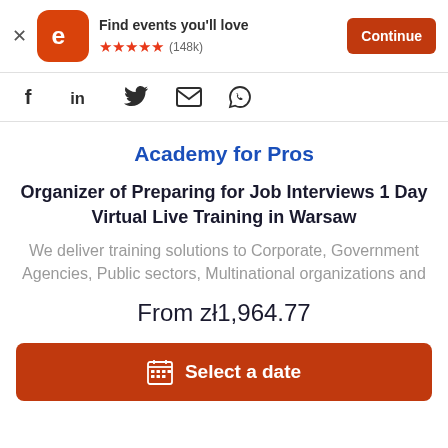[Figure (screenshot): Eventbrite app banner with orange rounded square logo showing white 'e', text 'Find events you’ll love', five orange stars, rating (148k), and orange Continue button]
[Figure (infographic): Social sharing icons row: Facebook (f), LinkedIn (in), Twitter bird, Email envelope, WhatsApp chat bubble]
Academy for Pros
Organizer of Preparing for Job Interviews 1 Day Virtual Live Training in Warsaw
We deliver training solutions to Corporate, Government Agencies, Public sectors, Multinational organizations and
From zᐯ1,964.77
Select a date